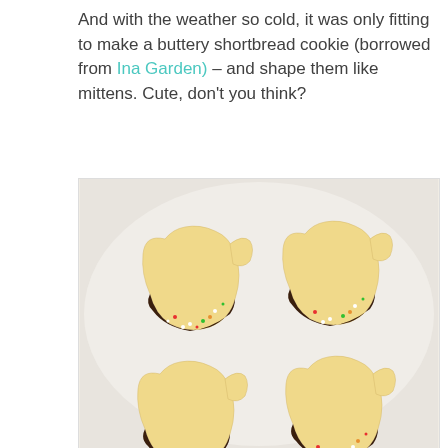And with the weather so cold, it was only fitting to make a buttery shortbread cookie (borrowed from Ina Garden) – and shape them like mittens. Cute, don't you think?
[Figure (photo): Four mitten-shaped shortbread cookies arranged on a white plate. Each cookie is golden/cream colored and dipped at the bottom in dark chocolate with colorful sprinkles.]